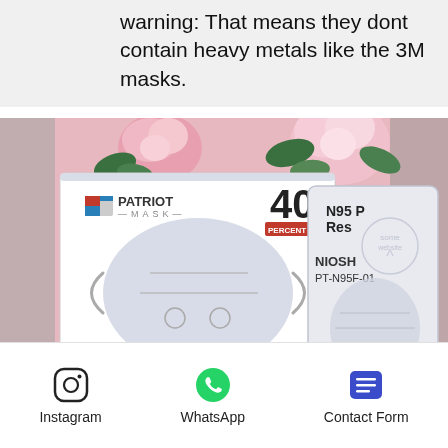warning: That means they dont contain heavy metals like the 3M masks.
[Figure (photo): Product photo showing a Patriot Mask box of 40 N95 Respirators by LG Health (Model PT-N95F-01) alongside a sealed individual mask pouch labeled N95 P Respirator, NIOSH, PT-N95F-01. Pink roses in background on a pink surface.]
Instagram   WhatsApp   Contact Form